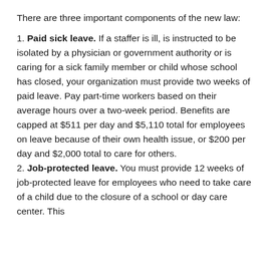There are three important components of the new law:
1. Paid sick leave. If a staffer is ill, is instructed to be isolated by a physician or government authority or is caring for a sick family member or child whose school has closed, your organization must provide two weeks of paid leave. Pay part-time workers based on their average hours over a two-week period. Benefits are capped at $511 per day and $5,110 total for employees on leave because of their own health issue, or $200 per day and $2,000 total to care for others.
2. Job-protected leave. You must provide 12 weeks of job-protected leave for employees who need to take care of a child due to the closure of a school or day care center. This